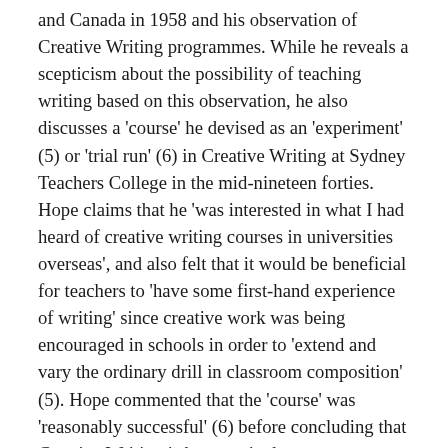and Canada in 1958 and his observation of Creative Writing programmes. While he reveals a scepticism about the possibility of teaching writing based on this observation, he also discusses a 'course' he devised as an 'experiment' (5) or 'trial run' (6) in Creative Writing at Sydney Teachers College in the mid-nineteen forties. Hope claims that he 'was interested in what I had heard of creative writing courses in universities overseas', and also felt that it would be beneficial for teachers to 'have some first-hand experience of writing' since creative work was being encouraged in schools in order to 'extend and vary the ordinary drill in classroom composition' (5). Hope commented that the 'course' was 'reasonably successful' (6) before concluding that Creative Writing is better suited as an extra-curricula activity. This, no doubt, was the first Creative Writing class in a tertiary institution in Australia. Perhaps the first College of Advanced Education to offer classes in Creative Writing was the Mitchell CAE (originally Bathurst Teachers' College and now Charles Sturt University). Here the New Zealand poet, Louis Johnson, taught classes in the Department of English and Modern Languages from 1969. However, Creative Writing was 'part of the College's overall aim to provide a sound educational background to future teachers in the related